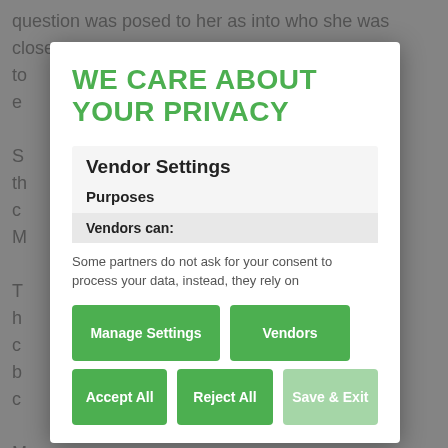question was posed to her as into who she was close to e S th c M T h c y b c M p E small exchan will work out but at least we will be watching out for
WE CARE ABOUT YOUR PRIVACY
Vendor Settings
Purposes
Vendors can:
Some partners do not ask for your consent to process your data, instead, they rely on
Manage Settings
Vendors
Accept All
Reject All
Save & Exit